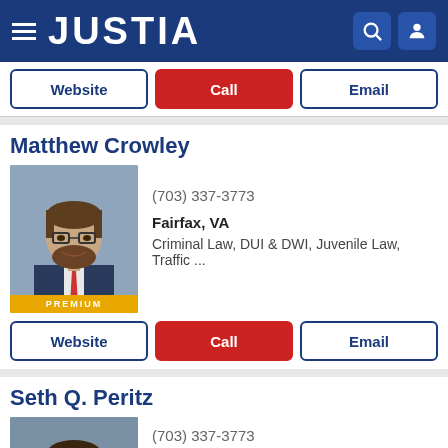JUSTIA
Website | Call | Email
Matthew Crowley
(703) 337-3773
Fairfax, VA
Criminal Law, DUI & DWI, Juvenile Law, Traffic ...
[Figure (photo): Headshot of Matthew Crowley, male attorney with glasses and beard, wearing a suit and red tie. PREMIUM badge at bottom.]
Website | Call | Email
Seth Q. Peritz
(703) 337-3773
Fairfax, VA
Criminal Law, DUI & DWI, Juvenile Law, Traffic ...
[Figure (photo): Headshot of Seth Q. Peritz, male attorney with beard, wearing a suit. No premium badge.]